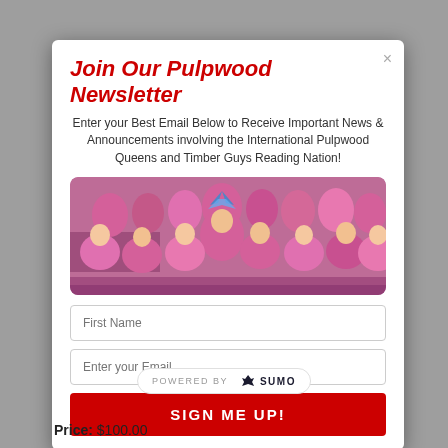Join Our Pulpwood Newsletter
Enter your Best Email Below to Receive Important News & Announcements involving the International Pulpwood Queens and Timber Guys Reading Nation!
[Figure (photo): Group photo of many women wearing pink t-shirts seated and standing together, one person wearing a decorative crown/headpiece in the center]
First Name
Enter your Email
SIGN ME UP!
POWERED BY SUMO
Price: $100.00